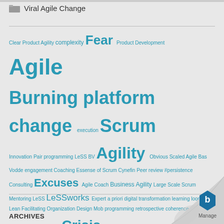Viral Agile Change
[Figure (infographic): Tag cloud with agile/scrum related keywords in various sizes and shades of teal/blue, representing topics: Clear Product Agility, complexity, Fear, Product Development, Agile, Burning platform, change, execution, Scrum, Innovation, Pair programming, LeSS BV, Agility, Obvious, Scaled Agile, Bas Vodde, engagement, Coaching, Essense of Scrum, Cynefin, Peer review, #persistence, Consulting, Excuses, Agile Coach, Business Agility, Large Scale Scrum, Mentoring, LeSS, LeSSworks, Expert, a priori, digital transformation, learning loops, Lean, Facilitating, Organization Design, Mob programming, retrospective, coherence, #success, Scrum Guide, Crisis, transformation, Scrum team]
ARCHIVES
[Figure (logo): Manage logo with blue hexagon icon in bottom right corner with page curl effect]